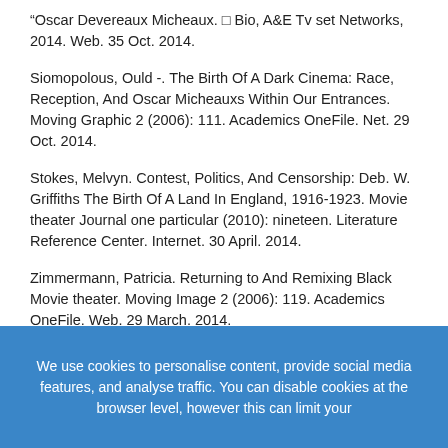“Oscar Devereaux Micheaux. □ Bio, A&E Tv set Networks, 2014. Web. 35 Oct. 2014.
Siomopolous, Ould -. The Birth Of A Dark Cinema: Race, Reception, And Oscar Micheauxs Within Our Entrances. Moving Graphic 2 (2006): 111. Academics OneFile. Net. 29 Oct. 2014.
Stokes, Melvyn. Contest, Politics, And Censorship: Deb. W. Griffiths The Birth Of A Land In England, 1916-1923. Movie theater Journal one particular (2010): nineteen. Literature Reference Center. Internet. 30 April. 2014.
Zimmermann, Patricia. Returning to And Remixing Black Movie theater. Moving Image 2 (2006): 119. Academics OneFile. Web. 29 March. 2014.
Tweet
We use cookies to personalise content, provide social media features, and analyse traffic. You can disable cookies at the browser level, however this can limit your